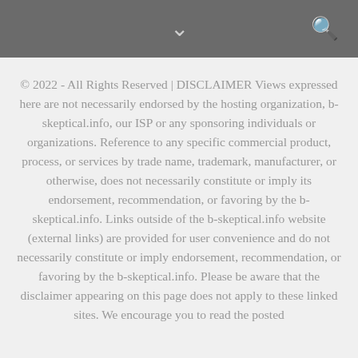Navigation header bar with chevron and search icons
© 2022 - All Rights Reserved | DISCLAIMER Views expressed here are not necessarily endorsed by the hosting organization, b-skeptical.info, our ISP or any sponsoring individuals or organizations. Reference to any specific commercial product, process, or services by trade name, trademark, manufacturer, or otherwise, does not necessarily constitute or imply its endorsement, recommendation, or favoring by the b-skeptical.info. Links outside of the b-skeptical.info website (external links) are provided for user convenience and do not necessarily constitute or imply endorsement, recommendation, or favoring by the b-skeptical.info. Please be aware that the disclaimer appearing on this page does not apply to these linked sites. We encourage you to read the posted